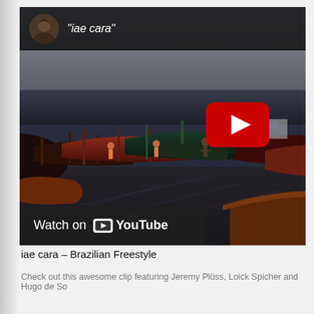[Figure (screenshot): YouTube video embed showing 'iae cara' channel with a beach/boat scene. The video thumbnail shows fishing boats on a dark shore with people visible. A red YouTube play button is centered-right. A 'Watch on YouTube' bar is at the bottom left of the video. Channel avatar and name 'iae cara' shown in top bar.]
iae cara – Brazilian Freestyle
Check out this awesome clip featuring Jeremy Plüss, Loick Spicher and Hugo de So